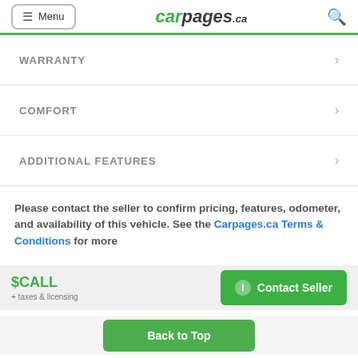Menu | carpages.ca
WARRANTY
COMFORT
ADDITIONAL FEATURES
Please contact the seller to confirm pricing, features, odometer, and availability of this vehicle. See the Carpages.ca Terms & Conditions for more
$CALL + taxes & licensing
Contact Seller
Back to Top